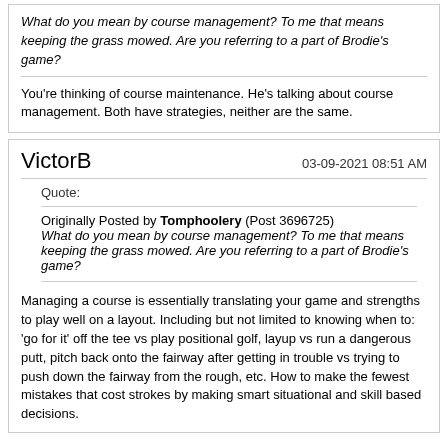What do you mean by course management? To me that means keeping the grass mowed. Are you referring to a part of Brodie's game?
You're thinking of course maintenance. He's talking about course management. Both have strategies, neither are the same.
VictorB
03-09-2021 08:51 AM
Quote:
Originally Posted by Tomphoolery (Post 3696725) What do you mean by course management? To me that means keeping the grass mowed. Are you referring to a part of Brodie's game?
Managing a course is essentially translating your game and strengths to play well on a layout. Including but not limited to knowing when to: 'go for it' off the tee vs play positional golf, layup vs run a dangerous putt, pitch back onto the fairway after getting in trouble vs trying to push down the fairway from the rough, etc. How to make the fewest mistakes that cost strokes by making smart situational and skill based decisions.